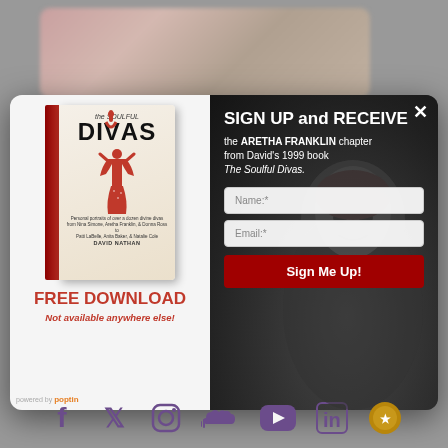[Figure (screenshot): Website popup/modal overlay promoting a free download of the Aretha Franklin chapter from the book 'The Soulful Divas' by David Nathan. Left side shows book cover with title 'the SOULFUL DIVAS' and a figure in a red dress, with 'FREE DOWNLOAD' and 'Not available anywhere else!' text. Right side has dark background with portrait, sign-up form fields for Name and Email, and a 'Sign Me Up!' button. Close X in top right. Powered by poptin logo at bottom left.]
SIGN UP and RECEIVE
the ARETHA FRANKLIN chapter from David's 1999 book The Soulful Divas.
FREE DOWNLOAD
Not available anywhere else!
powered by poptin
[Figure (illustration): Social media icons row: Facebook, Twitter, Instagram, SoundCloud, YouTube, LinkedIn, and a golden circular icon]